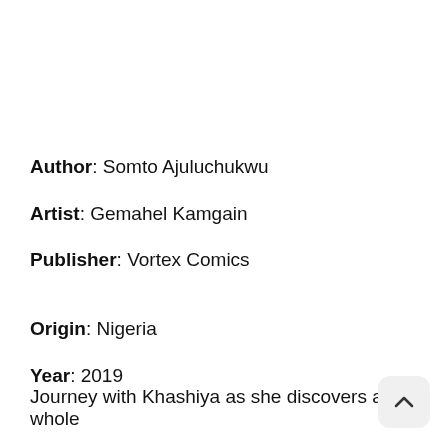Author: Somto Ajuluchukwu
Artist: Gemahel Kamgain
Publisher: Vortex Comics
Origin: Nigeria
Year: 2019
Journey with Khashiya as she discovers a whole